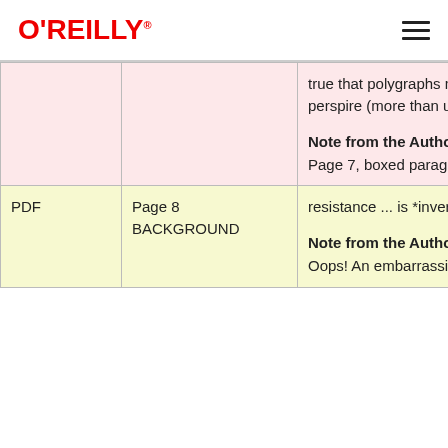O'REILLY
|  |  |  |
| --- | --- | --- |
|  |  | true that polygraphs measure conjecture that someone wh to perspire (more than usual) polygraphing is regarded as j

Note from the Author or Edit Page 7, boxed paragraph. De "tends to perspire." and subs |
| PDF | Page 8 BACKGROUND | resistance ... is *inversely* p section

Note from the Author or Edit Oops! An embarrassing error. before. |